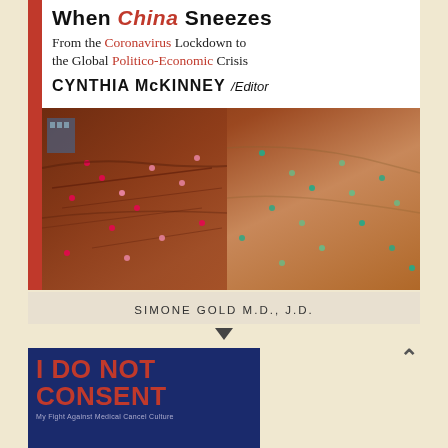[Figure (photo): Book cover: 'When China Sneezes: From the Coronavirus Lockdown to the Global Politico-Economic Crisis' edited by Cynthia McKinney, with aerial photograph of construction/excavation site with workers and machinery]
SIMONE GOLD M.D., J.D.
[Figure (photo): Book cover: 'I DO NOT CONSENT' with subtitle text partially visible, dark blue background with red title text]